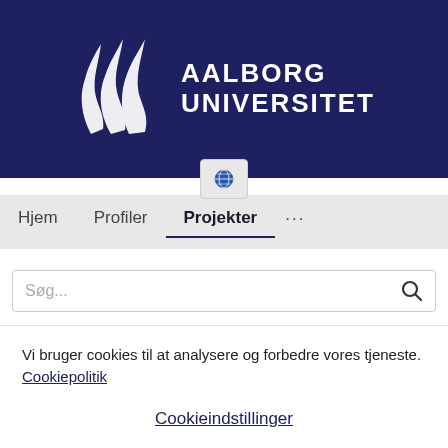[Figure (logo): Aalborg Universitet logo: white flame/wave graphic on dark navy background with text AALBORG UNIVERSITET]
[Figure (screenshot): Globe/language selector button]
Hjem   Profiler   Projekter   ...
Søg...
Vi bruger cookies til at analysere og forbedre vores tjeneste. Cookiepolitik
Cookieindstillinger